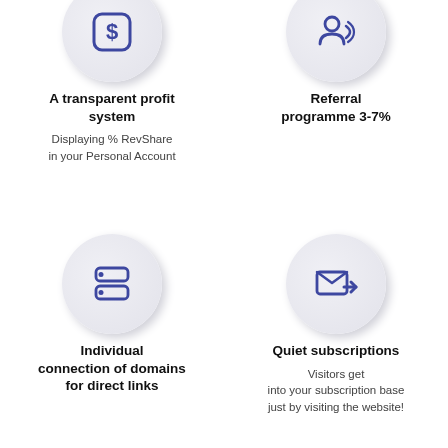[Figure (illustration): Dollar sign in a rounded square icon inside a circular neumorphic button]
A transparent profit system
Displaying % RevShare in your Personal Account
[Figure (illustration): Person speaking / referral icon inside a circular neumorphic button]
Referral programme 3-7%
[Figure (illustration): Server / hosting icon inside a circular neumorphic button]
Individual connection of domains for direct links
[Figure (illustration): Email forward / subscription icon inside a circular neumorphic button]
Quiet subscriptions
Visitors get into your subscription base just by visiting the website!